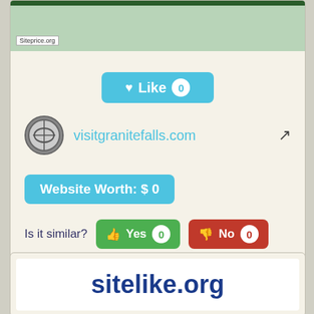[Figure (screenshot): Screenshot thumbnail of visitgrantefalls.com with green header bar and Siteprice.org watermark]
♥ Like 0
visitgrantefalls.com ↗
Website Worth: $ 0
Is it similar? Yes 0 No 0
Scroll Top
sitelike.org